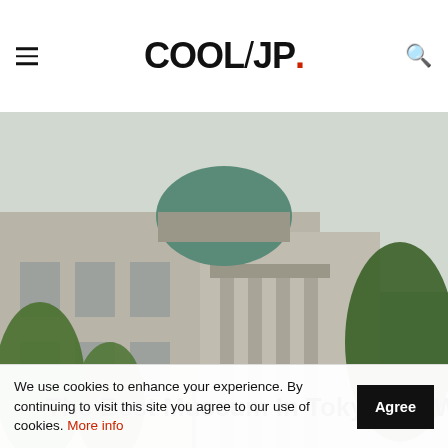COOL/JP.
[Figure (photo): Exterior view of a large classical stone museum building with a green dome, columns at the entrance, surrounded by trees and a green lawn with visitors relaxing. Japanese architecture with European neoclassical style, likely Tokyo National Museum in Ueno Park.]
TRAVEL / GUIDE
The Best Museum In Tokyo – A Walk In The Pa
We use cookies to enhance your experience. By continuing to visit this site you agree to our use of cookies. More info